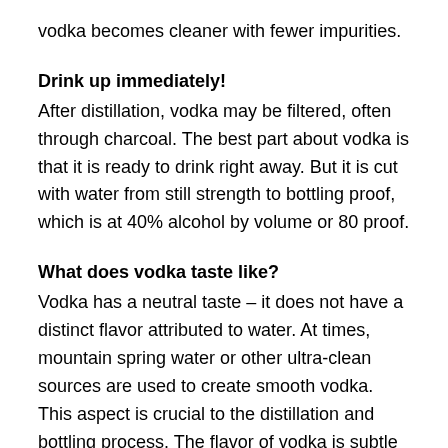vodka becomes cleaner with fewer impurities.
Drink up immediately!
After distillation, vodka may be filtered, often through charcoal. The best part about vodka is that it is ready to drink right away. But it is cut with water from still strength to bottling proof, which is at 40% alcohol by volume or 80 proof.
What does vodka taste like?
Vodka has a neutral taste – it does not have a distinct flavor attributed to water. At times, mountain spring water or other ultra-clean sources are used to create smooth vodka. This aspect is crucial to the distillation and bottling process. The flavor of vodka is subtle and often like a clear grain. If you taste enough vodka of a great variety, you will begin to pick up the differences. Some vodka has an silky, silky texture with a bit of sweetness, while others